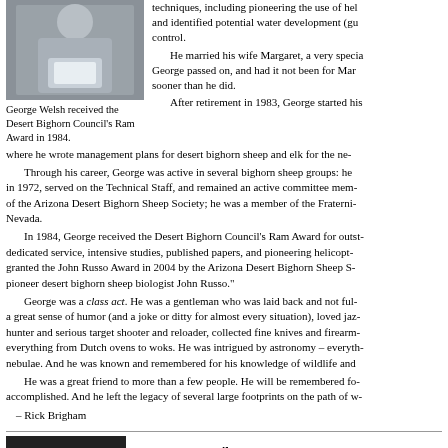[Figure (photo): Photo of George Welsh holding an award plaque]
George Welsh received the Desert Bighorn Council's Ram Award in 1984.
techniques, including pioneering the use of heli- and identified potential water development (gu- control.
He married his wife Margaret, a very specia- George passed on, and had it not been for Mar- sooner than he did.
After retirement in 1983, George started his where he wrote management plans for desert bighorn sheep and elk for the ne-
Through his career, George was active in several bighorn sheep groups: he in 1972, served on the Technical Staff, and remained an active committee mem- of the Arizona Desert Bighorn Sheep Society; he was a member of the Fraterni- Nevada.
In 1984, George received the Desert Bighorn Council's Ram Award for outst- dedicated service, intensive studies, published papers, and pioneering helicopt- granted the John Russo Award in 2004 by the Arizona Desert Bighorn Sheep S- pioneer desert bighorn sheep biologist John Russo."
George was a class act. He was a gentleman who was laid back and not ful- a great sense of humor (and a joke or ditty for almost every situation), loved jaz- hunter and serious target shooter and reloader, collected fine knives and firearm- everything from Dutch ovens to woks. He was intrigued by astronomy – everyth- nebulae. And he was known and remembered for his knowledge of wildlife and
He was a great friend to more than a few people. He will be remembered fo- accomplished. And he left the legacy of several large footprints on the path of w-
– Rick Brigham
[Figure (photo): Black and white photo of Lanny Owen Wilson]
Lanny Owen Wilson